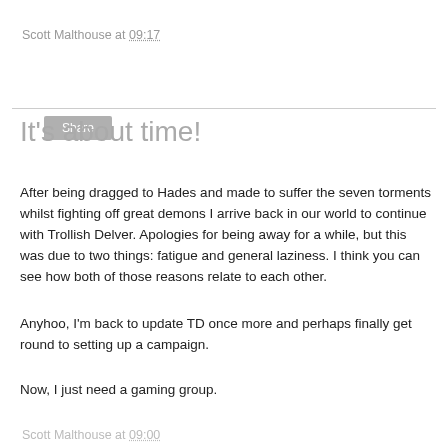Scott Malthouse at 09:17
Share
It's about time!
After being dragged to Hades and made to suffer the seven torments whilst fighting off great demons I arrive back in our world to continue with Trollish Delver. Apologies for being away for a while, but this was due to two things: fatigue and general laziness. I think you can see how both of those reasons relate to each other.
Anyhoo, I'm back to update TD once more and perhaps finally get round to setting up a campaign.
Now, I just need a gaming group.
Scott Malthouse at 09:00